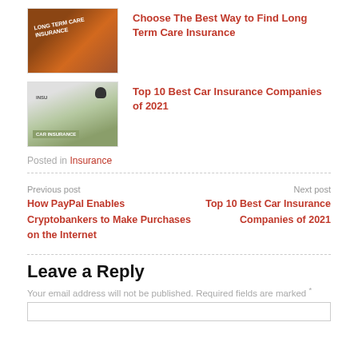[Figure (photo): Long Term Care Insurance document with pen on wooden surface]
Choose The Best Way to Find Long Term Care Insurance
[Figure (photo): Car insurance documents with car key and green Car Insurance label]
Top 10 Best Car Insurance Companies of 2021
Posted in Insurance
Previous post
How PayPal Enables Cryptobankers to Make Purchases on the Internet
Next post
Top 10 Best Car Insurance Companies of 2021
Leave a Reply
Your email address will not be published. Required fields are marked *